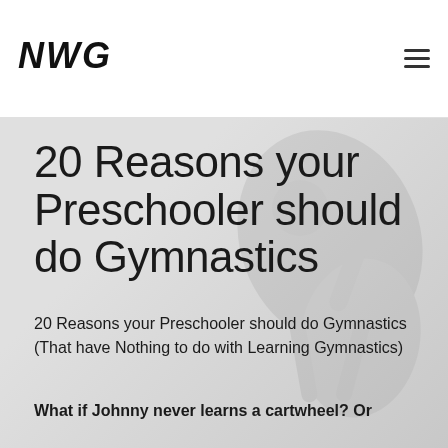NWG
[Figure (illustration): Gymnastics website header with NWG logo on the left and hamburger menu icon on the right. Hero image area with a faint gymnast silhouette in the background.]
20 Reasons your Preschooler should do Gymnastics
20 Reasons your Preschooler should do Gymnastics (That have Nothing to do with Learning Gymnastics)
What if Johnny never learns a cartwheel? Or